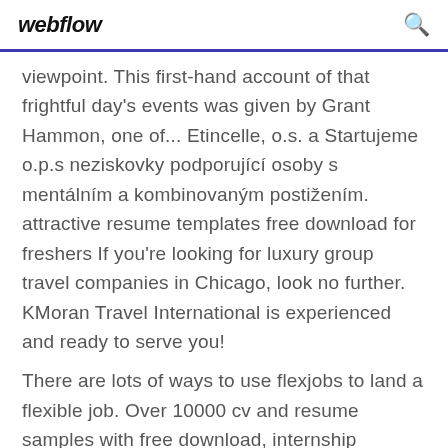webflow
viewpoint. This first-hand account of that frightful day's events was given by Grant Hammon, one of... Etincelle, o.s. a Startujeme o.p.s neziskovky podporující osoby s mentálním a kombinovaným postižením. attractive resume templates free download for freshers If you're looking for luxury group travel companies in Chicago, look no further. KMoran Travel International is experienced and ready to serve you!
There are lots of ways to use flexjobs to land a flexible job. Over 10000 cv and resume samples with free download, internship resume, best resume format best template